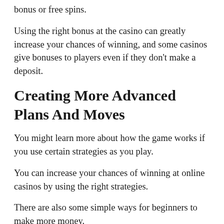bonus or free spins.
Using the right bonus at the casino can greatly increase your chances of winning, and some casinos give bonuses to players even if they don't make a deposit.
Creating More Advanced Plans And Moves
You might learn more about how the game works if you use certain strategies as you play.
You can increase your chances of winning at online casinos by using the right strategies.
There are also some simple ways for beginners to make more money.
So, one of the best tips for people who have never been